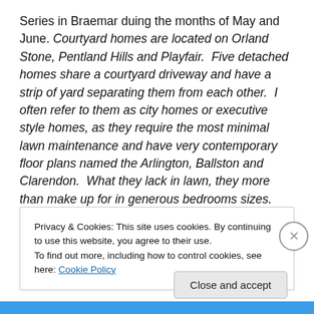Series in Braemar duing the months of May and June. Courtyard homes are located on Orland Stone, Pentland Hills and Playfair. Five detached homes share a courtyard driveway and have a strip of yard separating them from each other. I often refer to them as city homes or executive style homes, as they require the most minimal lawn maintenance and have very contemporary floor plans named the Arlington, Ballston and Clarendon. What they lack in lawn, they more than make up for in generous bedrooms sizes.
Privacy & Cookies: This site uses cookies. By continuing to use this website, you agree to their use. To find out more, including how to control cookies, see here: Cookie Policy
Close and accept